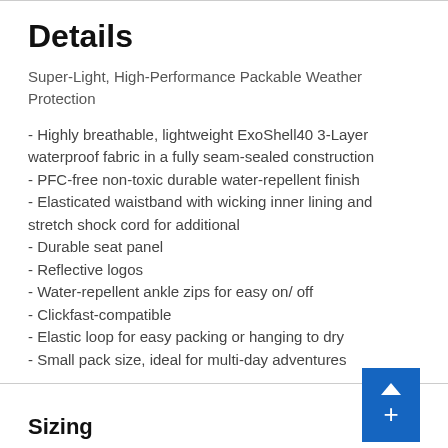Details
Super-Light, High-Performance Packable Weather Protection
- Highly breathable, lightweight ExoShell40 3-Layer waterproof fabric in a fully seam-sealed construction
- PFC-free non-toxic durable water-repellent finish
- Elasticated waistband with wicking inner lining and stretch shock cord for additional
- Durable seat panel
- Reflective logos
- Water-repellent ankle zips for easy on/ off
- Clickfast-compatible
- Elastic loop for easy packing or hanging to dry
- Small pack size, ideal for multi-day adventures
Sizing